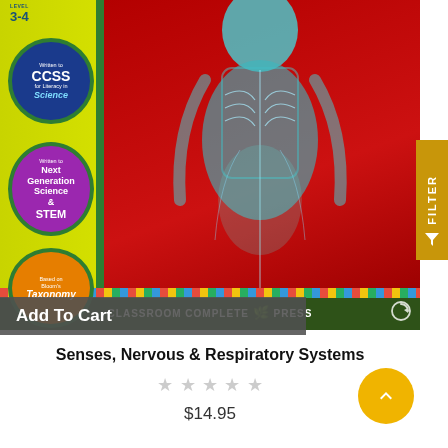[Figure (photo): Book cover for 'Senses, Nervous & Respiratory Systems' by Classroom Complete Press. Features an X-ray style image of a human torso on a red background. A yellow-green left sidebar has three circular badges: blue CCSS for Literacy in Science, purple Next Generation Science & STEM, and orange Based on Bloom's Taxonomy. Level 3-4 label at top. Green bottom bar with Classroom Complete Press logo.]
Senses, Nervous & Respiratory Systems
$14.95